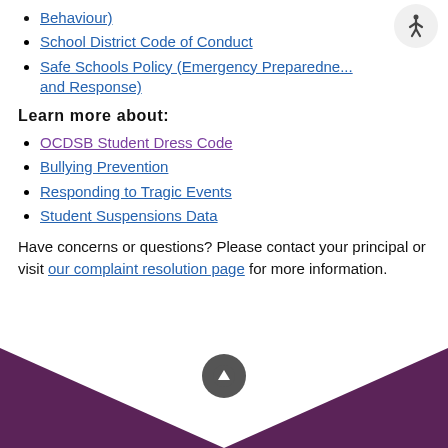Behaviour)
School District Code of Conduct
Safe Schools Policy (Emergency Preparedne... and Response)
Learn more about:
OCDSB Student Dress Code
Bullying Prevention
Responding to Tragic Events
Student Suspensions Data
Have concerns or questions? Please contact your principal or visit our complaint resolution page for more information.
[Figure (other): Dark purple chevron/arrow shape at bottom of page with scroll-to-top button (up arrow icon in grey circle)]